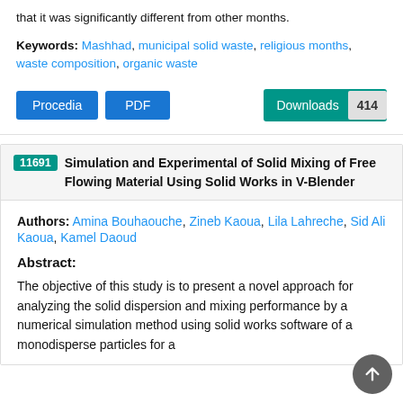that it was significantly different from other months.
Keywords: Mashhad, municipal solid waste, religious months, waste composition, organic waste
Procedia  PDF  Downloads 414
11691 Simulation and Experimental of Solid Mixing of Free Flowing Material Using Solid Works in V-Blender
Authors: Amina Bouhaouche, Zineb Kaoua, Lila Lahreche, Sid Ali Kaoua, Kamel Daoud
Abstract:
The objective of this study is to present a novel approach for analyzing the solid dispersion and mixing performance by a numerical simulation method using solid works software of a monodisperse particles for a